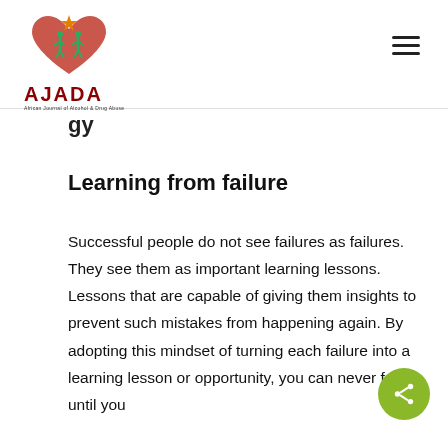[Figure (logo): AJADA logo with heart shape containing green figures and orange star, red text AJADA, small subtitle text 'African Journal of Alcohol & Drug Abuse']
gy
Learning from failure
Successful people do not see failures as failures. They see them as important learning lessons. Lessons that are capable of giving them insights to prevent such mistakes from happening again. By adopting this mindset of turning each failure into a learning lesson or opportunity, you can never fail until you